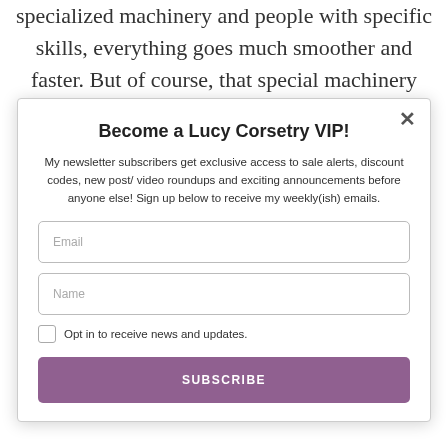specialized machinery and people with specific skills, everything goes much smoother and faster. But of course, that special machinery comes at a hefty price –
Become a Lucy Corsetry VIP!
My newsletter subscribers get exclusive access to sale alerts, discount codes, new post/ video roundups and exciting announcements before anyone else! Sign up below to receive my weekly(ish) emails.
Email
Name
Opt in to receive news and updates.
SUBSCRIBE